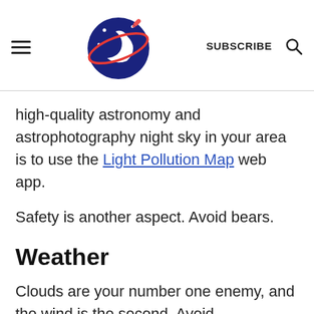Navigation header with hamburger menu, astronomy logo, SUBSCRIBE link, and search icon
high-quality astronomy and astrophotography night sky in your area is to use the Light Pollution Map web app.
Safety is another aspect. Avoid bears.
Weather
Clouds are your number one enemy, and the wind is the second. Avoid